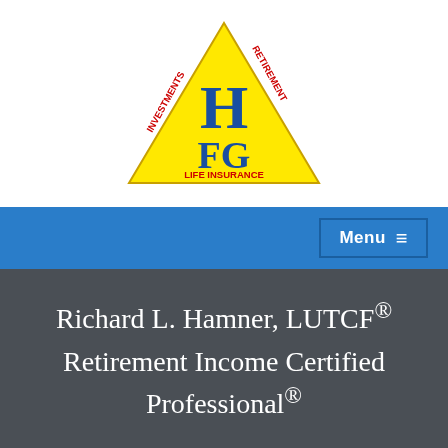[Figure (logo): HFG triangle logo with yellow background. Letters H and FG in blue. Text around triangle edges: INVESTMENTS, RETIREMENT, LIFE INSURANCE in red.]
Richard L. Hamner, LUTCF® Retirement Income Certified Professional®
For more information about NYLIFE Securities LLC and its investment professionals, click here.